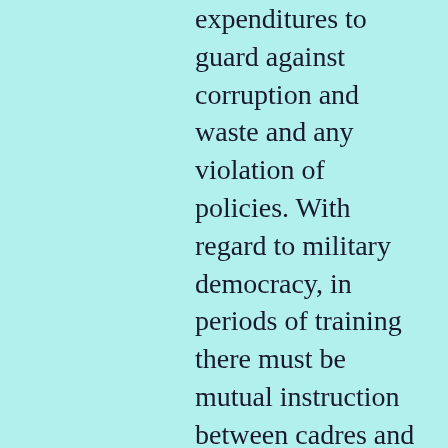expenditures to guard against corruption and waste and any violation of policies. With regard to military democracy, in periods of training there must be mutual instruction between cadres and fighters and among the fighters themselves, and there must be a review of the results of the instruction and learning